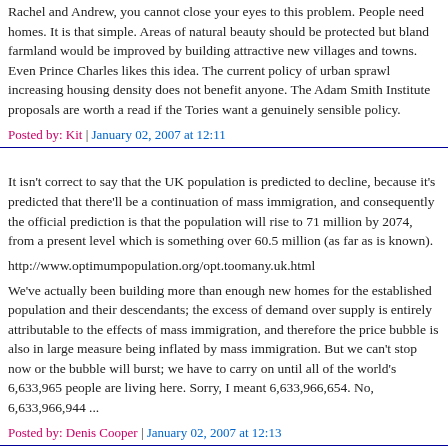Rachel and Andrew, you cannot close your eyes to this problem. People need homes. It is that simple. Areas of natural beauty should be protected but bland farmland would be improved by building attractive new villages and towns. Even Prince Charles likes this idea. The current policy of urban sprawl increasing housing density does not benefit anyone. The Adam Smith Institute proposals are worth a read if the Tories want a genuinely sensible policy.
Posted by: Kit | January 02, 2007 at 12:11
It isn't correct to say that the UK population is predicted to decline, because it's predicted that there'll be a continuation of mass immigration, and consequently the official prediction is that the population will rise to 71 million by 2074, from a present level which is something over 60.5 million (as far as is known).
http://www.optimumpopulation.org/opt.toomany.uk.html
We've actually been building more than enough new homes for the established population and their descendants; the excess of demand over supply is entirely attributable to the effects of mass immigration, and therefore the price bubble is also in large measure being inflated by mass immigration. But we can't stop now or the bubble will burst; we have to carry on until all of the world's 6,633,965 people are living here. Sorry, I meant 6,633,966,654. No, 6,633,966,944 ...
Posted by: Denis Cooper | January 02, 2007 at 12:13